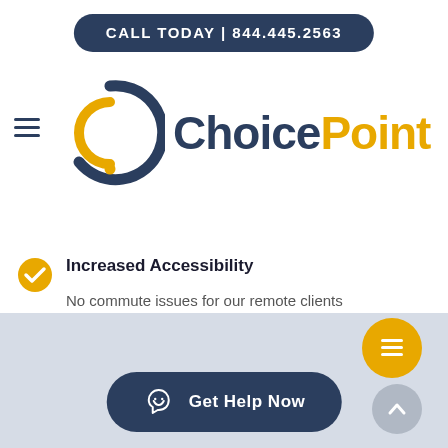CALL TODAY | 844.445.2563
[Figure (logo): ChoicePoint logo with circular arrow icon in navy and gold, text 'Choice' in navy and 'Point' in gold]
Increased Accessibility
No commute issues for our remote clients
Pocket Friendly
Cost-effective than in-person visits
[Figure (other): Yellow circle button with document/menu icon (chat widget)]
[Figure (other): Gray circle button with upward arrow]
Get Help Now